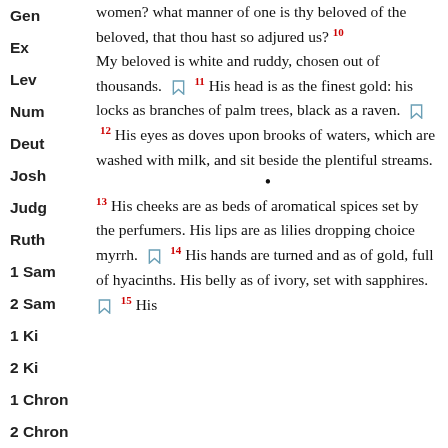Gen
Ex
Lev
Num
Deut
Josh
Judg
Ruth
1 Sam
2 Sam
1 Ki
2 Ki
1 Chron
2 Chron
women? what manner of one is thy beloved of the beloved, that thou hast so adjured us? [10] My beloved is white and ruddy, chosen out of thousands. [bookmark] [11] His head is as the finest gold: his locks as branches of palm trees, black as a raven. [bookmark] [12] His eyes as doves upon brooks of waters, which are washed with milk, and sit beside the plentiful streams. • [13] His cheeks are as beds of aromatical spices set by the perfumers. His lips are as lilies dropping choice myrrh. [bookmark] [14] His hands are turned and as of gold, full of hyacinths. His belly as of ivory, set with sapphires. [bookmark] [15] His